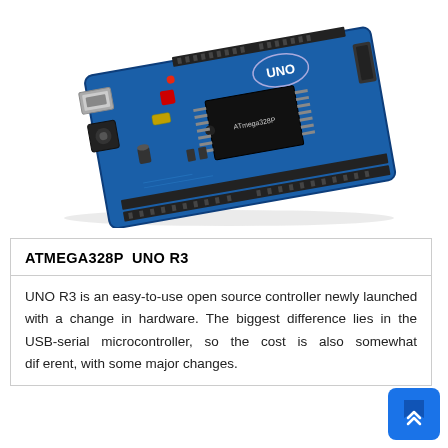[Figure (photo): Photo of an Arduino UNO R3 microcontroller board (ATmega328P) with blue PCB, USB connector, black barrel jack, DIP IC chip, and pin headers, photographed at an angle on a white background.]
ATMEGA328P  UNO R3
UNO R3 is an easy-to-use open source controller newly launched with a change in hardware. The biggest difference lies in the USB-serial microcontroller, so the cost is also somewhat different, with some major changes.